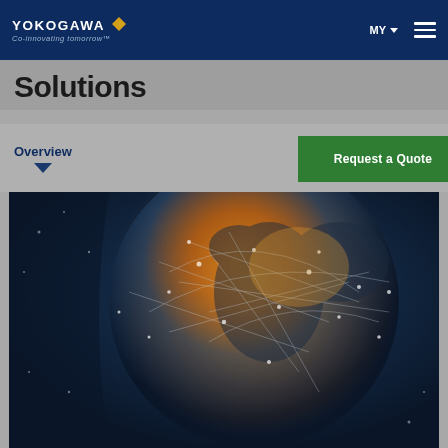YOKOGAWA Co-innovating tomorrow | MY
Solutions
Overview
Request a Quote
[Figure (photo): Digital globe showing network connectivity lines across continents, with amber/orange glowing regions against a dark blue background, representing global digital solutions]